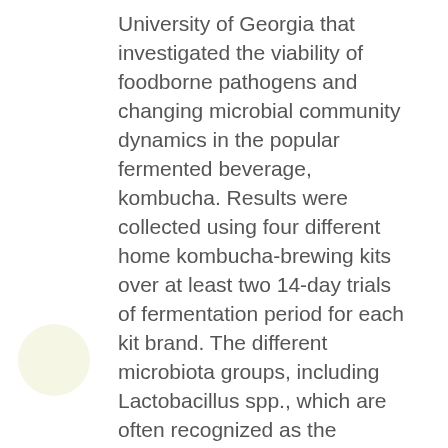University of Georgia that investigated the viability of foodborne pathogens and changing microbial community dynamics in the popular fermented beverage, kombucha. Results were collected using four different home kombucha-brewing kits over at least two 14-day trials of fermentation period for each kit brand. The different microbiota groups, including Lactobacillus spp., which are often recognized as the probiotic cultures in kombucha, surmounted a large population by the third day of fermentation and stabilized after that. The foodborne pathogens studied – Salmonella spp. and Escherichia coli – were, surprisingly, able to survive in small numbers ( &lt; 10 -100 CFUs/mL) to the end of a 14-day fermentation period in some kits. However, on average, both pathogens demonstrated a 5-log reduction or greater in population numbers by day 10 of the fermentation period. A 5-log reduction (death of